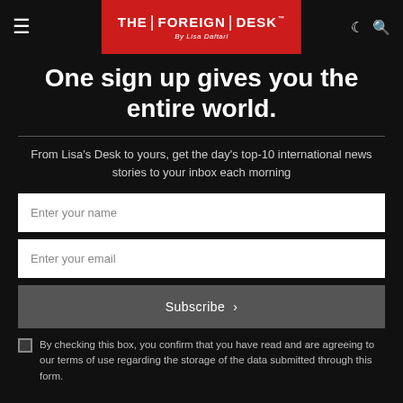THE FOREIGN DESK By Lisa Daftari
One sign up gives you the entire world.
From Lisa's Desk to yours, get the day's top-10 international news stories to your inbox each morning
Enter your name
Enter your email
Subscribe >
By checking this box, you confirm that you have read and are agreeing to our terms of use regarding the storage of the data submitted through this form.